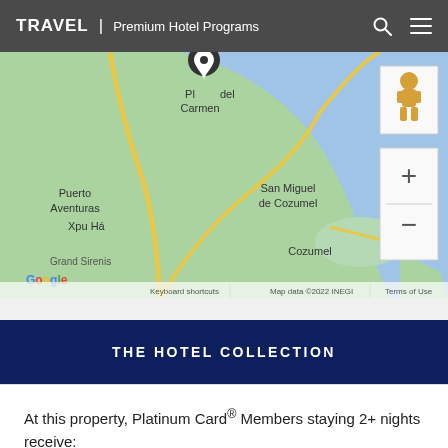TRAVEL | Premium Hotel Programs
[Figure (map): Google Map showing the Playa del Carmen and Cozumel area in Mexico, with Puerto Aventuras, Xpu Há, Grand Sirenis, San Miguel de Cozumel, and Cozumel labeled. A location pin is placed near Playa del Carmen. Map data ©2022 INEGI.]
THE HOTEL COLLECTION
At this property, Platinum Card® Members staying 2+ nights receive: